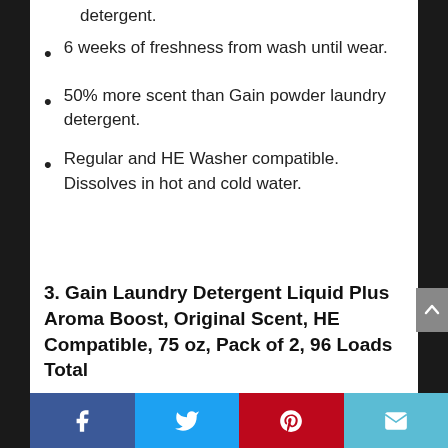6 weeks of freshness from wash until wear.
50% more scent than Gain powder laundry detergent.
Regular and HE Washer compatible. Dissolves in hot and cold water.
3. Gain Laundry Detergent Liquid Plus Aroma Boost, Original Scent, HE Compatible, 75 oz, Pack of 2, 96 Loads Total